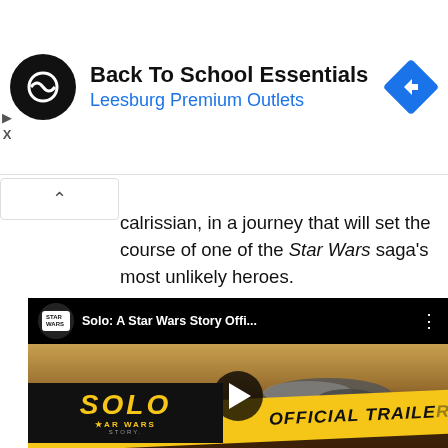[Figure (screenshot): Advertisement banner for Back To School Essentials at Leesburg Premium Outlets, with circular black logo with infinity-like symbol and blue navigation diamond icon on right]
calrissian, in a journey that will set the course of one of the Star Wars saga's most unlikely heroes.
[Figure (screenshot): YouTube video thumbnail for Solo: A Star Wars Story Official Trailer. Shows Millennium Falcon flying over desert landscape. Yellow banner at bottom reads OFFICIAL TRAILER with SOLO A STAR WARS STORY logo.]